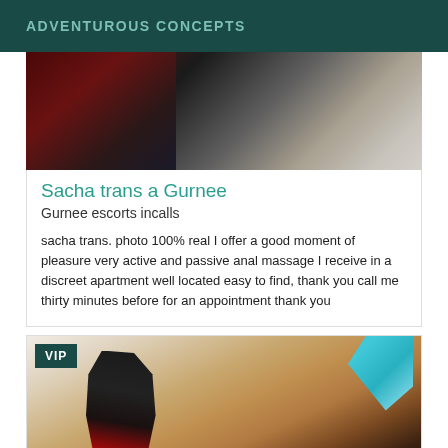ADVENTUROUS CONCEPTS
[Figure (photo): Partial photo showing dark and light tones, appears to be a person with hair visible]
Sacha trans a Gurnee
Gurnee escorts incalls
sacha trans. photo 100% real I offer a good moment of pleasure very active and passive anal massage I receive in a discreet apartment well located easy to find, thank you call me thirty minutes before for an appointment thank you
[Figure (photo): Photo of a blonde woman in red outfit with black high heels, VIP badge overlay in top-left corner]